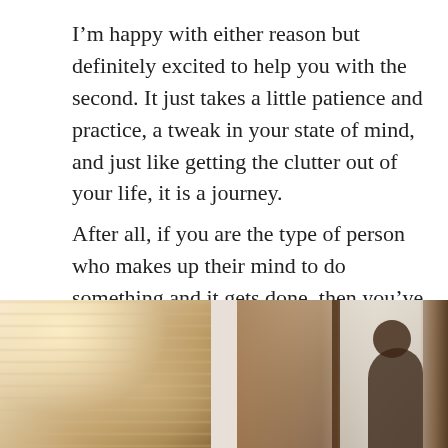I'm happy with either reason but definitely excited to help you with the second. It just takes a little patience and practice, a tweak in your state of mind, and just like getting the clutter out of your life, it is a journey.
After all, if you are the type of person who makes up their mind to do something and it gets done, then you've got this! And eventually, you can find yourself saying, “Hellooo, hygge winter!”
[Figure (photo): Two photos side by side: left shows sheer lace curtains with warm golden light filtering through, right shows a person silhouetted at a wooden-framed window looking outside in winter light.]